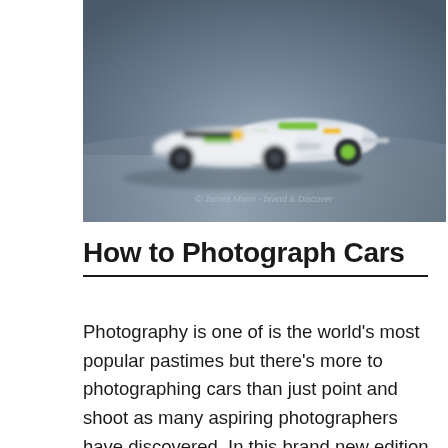[Figure (photo): Blurred photo of Formula 1 racing cars on a track, showing two cars close together with green and yellow livery details. Image has a motion-blur aesthetic with dark background.]
How to Photograph Cars
Photography is one of is the world's most popular pastimes but there's more to photographing cars than just point and shoot as many aspiring photographers have discovered. In this brand new edition of 'How to Photograph Cars', updating the original worldwide best selling book, James Mann illustrates the latest digital techniques